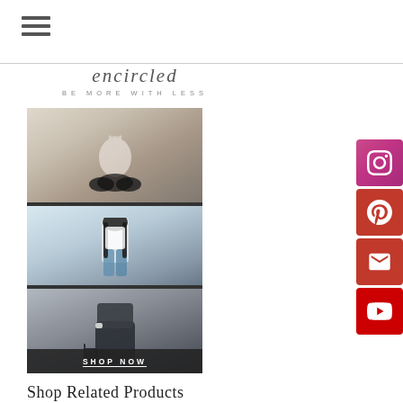[Figure (other): Hamburger menu icon (three horizontal lines)]
[Figure (logo): Encircled logo with text 'encircled' and tagline 'BE MORE WITH LESS']
[Figure (photo): Collage of three fashion/lifestyle photos of women in various outfits, with a 'SHOP NOW' button overlay at the bottom]
[Figure (other): Social media icon buttons on the right side: Instagram (pink/purple), Pinterest (red), Email/Mail (red), YouTube (red)]
Shop Related Products